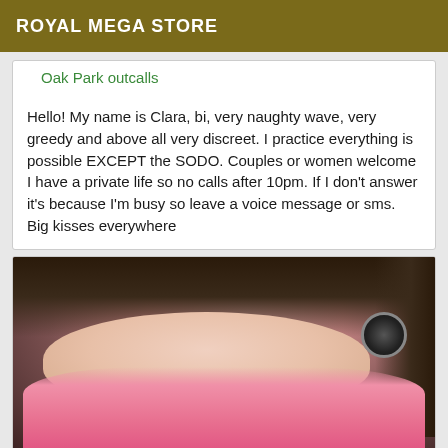ROYAL MEGA STORE
Oak Park outcalls
Hello! My name is Clara, bi, very naughty wave, very greedy and above all very discreet. I practice everything is possible EXCEPT the SODO. Couples or women welcome I have a private life so no calls after 10pm. If I don't answer it's because I'm busy so leave a voice message or sms. Big kisses everywhere
[Figure (photo): Close-up photo of a woman with dark hair wearing large circular earrings and a pink top]